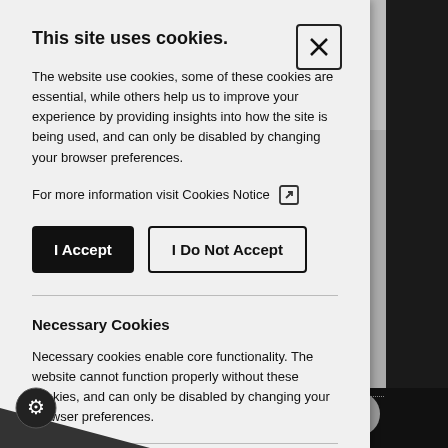This site uses cookies.
The website use cookies, some of these cookies are essential, while others help us to improve your experience by providing insights into how the site is being used, and can only be disabled by changing your browser preferences.
For more information visit Cookies Notice
I Accept
I Do Not Accept
Necessary Cookies
Necessary cookies enable core functionality. The website cannot function properly without these cookies, and can only be disabled by changing your browser preferences.
Analytical Cookies
cookies help us to improve our website by collecting and